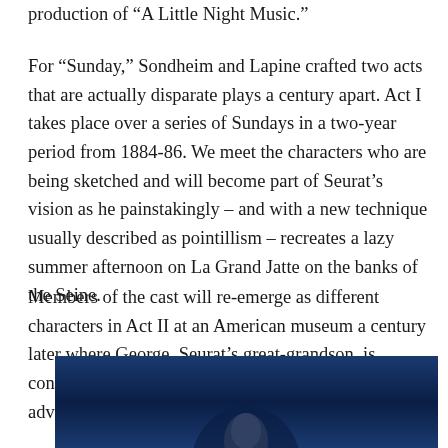production of “A Little Night Music.”
For “Sunday,” Sondheim and Lapine crafted two acts that are actually disparate plays a century apart. Act I takes place over a series of Sundays in a two-year period from 1884-86. We meet the characters who are being sketched and will become part of Seurat’s vision as he painstakingly – and with a new technique usually described as pointillism – recreates a lazy summer afternoon on La Grand Jatte on the banks of the Seine.
Members of the cast will re-emerge as different characters in Act II at an American museum a century later where George, Seurat’s great-grandson, is confronting an artistic crisis that has him seeking advice from grandmother Marie.
[Figure (photo): Dark blue-toned photograph showing a person partially visible at the bottom, likely a performer or actor, against a dark blue background.]